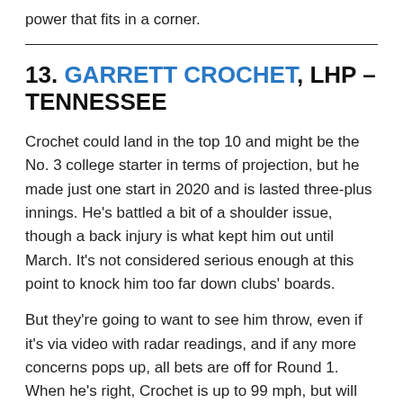power that fits in a corner.
13. GARRETT CROCHET, LHP – TENNESSEE
Crochet could land in the top 10 and might be the No. 3 college starter in terms of projection, but he made just one start in 2020 and is lasted three-plus innings. He's battled a bit of a shoulder issue, though a back injury is what kept him out until March. It's not considered serious enough at this point to knock him too far down clubs' boards.
But they're going to want to see him throw, even if it's via video with radar readings, and if any more concerns pops up, all bets are off for Round 1. When he's right, Crochet is up to 99 mph, but will need to clean up his command and find more consistency with his slider.